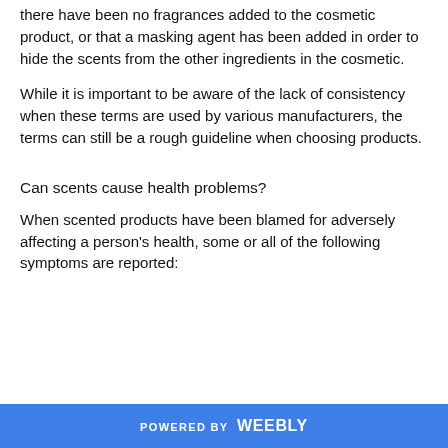there have been no fragrances added to the cosmetic product, or that a masking agent has been added in order to hide the scents from the other ingredients in the cosmetic.
While it is important to be aware of the lack of consistency when these terms are used by various manufacturers, the terms can still be a rough guideline when choosing products.
Can scents cause health problems?
When scented products have been blamed for adversely affecting a person's health, some or all of the following symptoms are reported:
POWERED BY weebly